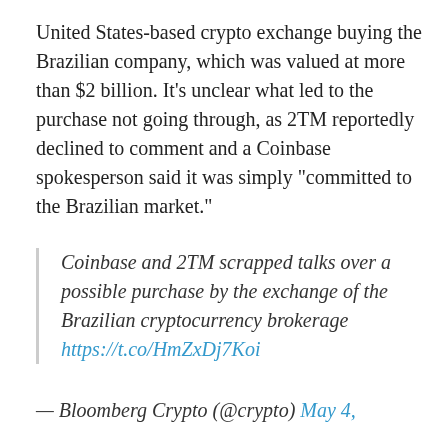United States-based crypto exchange buying the Brazilian company, which was valued at more than $2 billion. It's unclear what led to the purchase not going through, as 2TM reportedly declined to comment and a Coinbase spokesperson said it was simply “committed to the Brazilian market.”
Coinbase and 2TM scrapped talks over a possible purchase by the exchange of the Brazilian cryptocurrency brokerage https://t.co/HmZxDj7Koi
— Bloomberg Crypto (@crypto) May 4,